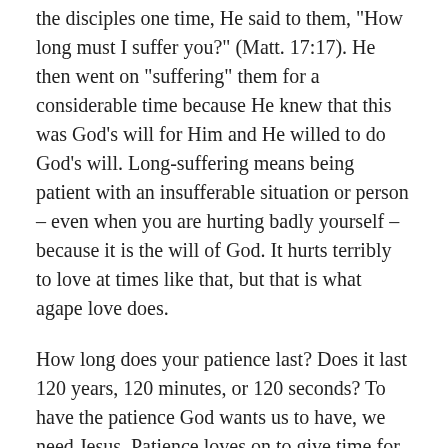the disciples one time, He said to them, "How long must I suffer you?" (Matt. 17:17). He then went on "suffering" them for a considerable time because He knew that this was God's will for Him and He willed to do God's will. Long-suffering means being patient with an insufferable situation or person – even when you are hurting badly yourself – because it is the will of God. It hurts terribly to love at times like that, but that is what agape love does.
How long does your patience last? Does it last 120 years, 120 minutes, or 120 seconds? To have the patience God wants us to have, we need Jesus. Patience loves on to give time for God's redemptive power to do its work. Love gives us the power to suffer long when we desperately want things to change.
Kindness Is Patience In Action
Paul says that not only is love patient, it is also kind. Kindness is the active part of patience. Patience is being